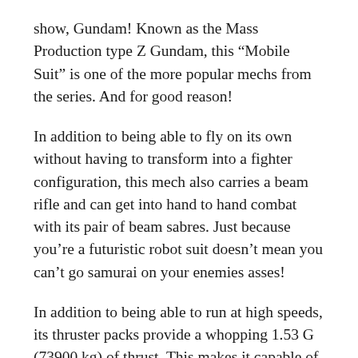show, Gundam! Known as the Mass Production type Z Gundam, this “Mobile Suit” is one of the more popular mechs from the series. And for good reason!
In addition to being able to fly on its own without having to transform into a fighter configuration, this mech also carries a beam rifle and can get into hand to hand combat with its pair of beam sabres. Just because you’re a futuristic robot suit doesn’t mean you can’t go samurai on your enemies asses!
In addition to being able to run at high speeds, its thruster packs provide a whopping 1.53 G (73900 kg) of thrust. This makes it capable of operating in air, space and on land. Its diverse weapons capabilities also mean it is able to perform ranged and hand to hand attacks. In short, its versatility